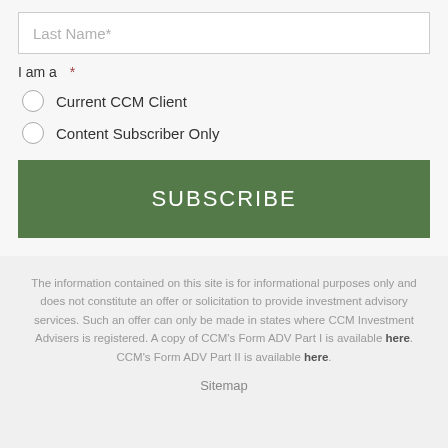Last Name*
I am a *
Current CCM Client
Content Subscriber Only
SUBSCRIBE
The information contained on this site is for informational purposes only and does not constitute an offer or solicitation to provide investment advisory services. Such an offer can only be made in states where CCM Investment Advisers is registered. A copy of CCM's Form ADV Part I is available here. CCM's Form ADV Part II is available here.
Sitemap